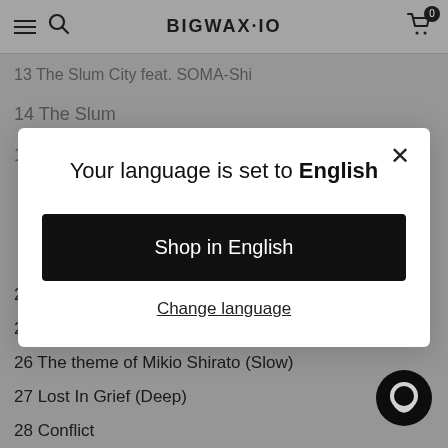BIGWAX.IO
13  The Slum City feat. SOMA-Shi
14  The Slum
15  The Slum (Night)
Your language is set to English
Shop in English
Change language
24  Heartwarming
25  The theme of Mikio Shirato
26  The theme of Mikio Shirato (Slow)
27  Lost In Grief (Deep)
28  Conflict